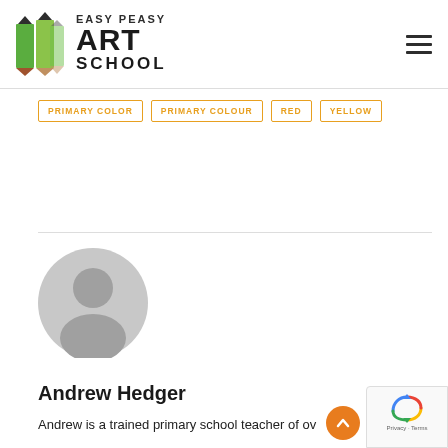[Figure (logo): Easy Peasy Art School logo with pencil icon and text]
PRIMARY COLOR
PRIMARY COLOUR
RED
YELLOW
[Figure (photo): Generic grey avatar/profile placeholder image of a person silhouette]
Andrew Hedger
Andrew is a trained primary school teacher of ov